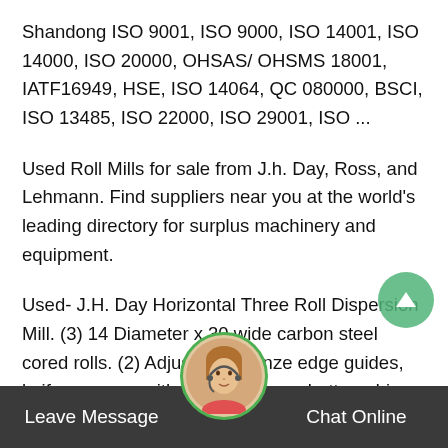Shandong ISO 9001, ISO 9000, ISO 14001, ISO 14000, ISO 20000, OHSAS/ OHSMS 18001, IATF16949, HSE, ISO 14064, QC 080000, BSCI, ISO 13485, ISO 22000, ISO 29001, ISO ...
Used Roll Mills for sale from J.h. Day, Ross, and Lehmann. Find suppliers near you at the world's leading directory for surplus machinery and equipment.
Used- J.H. Day Horizontal Three Roll Dispersion Mill. (3) 14 Diameter x 30 wide carbon steel cored rolls. (2) Adjustable bronze edge guides, knife scrapper with discharge pan, bottom drip pan. Approximate roll speed apron roll 300 rpm, middle roll 142 rpm, feed roll ...
Leave Message   Chat Online